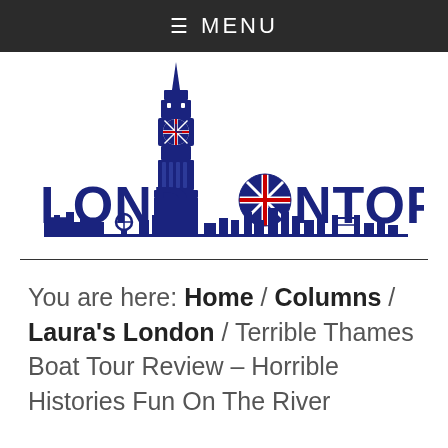≡ MENU
[Figure (logo): Londontopia logo featuring Big Ben tower above the text LONDONTOPIA with a Union Jack roundel replacing the letter O, and London skyline silhouette beneath the text]
You are here: Home / Columns / Laura's London / Terrible Thames Boat Tour Review – Horrible Histories Fun On The River